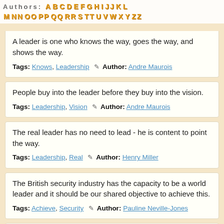A leader is one who knows the way, goes the way, and shows the way.
Tags: Knows, Leadership ✎ Author: Andre Maurois
People buy into the leader before they buy into the vision.
Tags: Leadership, Vision ✎ Author: Andre Maurois
The real leader has no need to lead - he is content to point the way.
Tags: Leadership, Real ✎ Author: Henry Miller
The British security industry has the capacity to be a world leader and it should be our shared objective to achieve this.
Tags: Achieve, Security ✎ Author: Pauline Neville-Jones